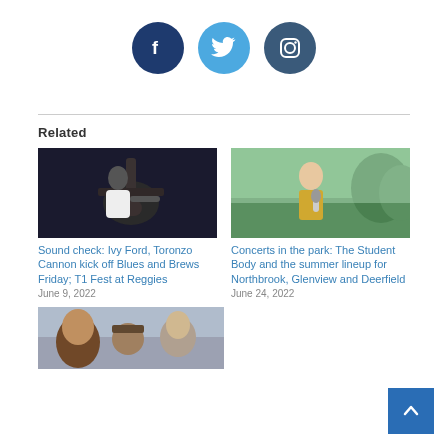[Figure (illustration): Social media icons: Facebook (dark blue circle with f), Twitter (light blue circle with bird), Instagram (dark teal circle with camera outline)]
Related
[Figure (photo): Person playing electric guitar in dark setting, wearing glasses and white shirt]
Sound check: Ivy Ford, Toronzo Cannon kick off Blues and Brews Friday; T1 Fest at Reggies
June 9, 2022
[Figure (photo): Female singer holding microphone outdoors with trees in background]
Concerts in the park: The Student Body and the summer lineup for Northbrook, Glenview and Deerfield
June 24, 2022
[Figure (photo): Group of people (band) posing indoors, curly hair visible in foreground]